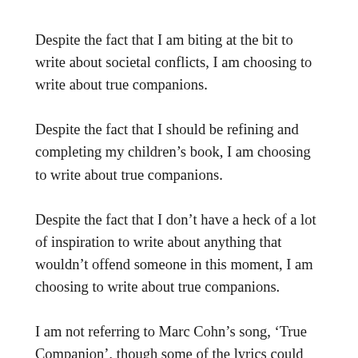Despite the fact that I am biting at the bit to write about societal conflicts, I am choosing to write about true companions.
Despite the fact that I should be refining and completing my children’s book, I am choosing to write about true companions.
Despite the fact that I don’t have a heck of a lot of inspiration to write about anything that wouldn’t offend someone in this moment, I am choosing to write about true companions.
I am not referring to Marc Cohn’s song, ‘True Companion’, though some of the lyrics could